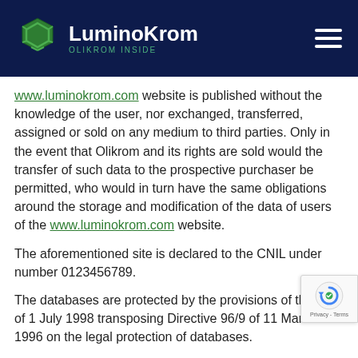LuminoKrom | OLIKROM INSIDE
www.luminokrom.com website is published without the knowledge of the user, nor exchanged, transferred, assigned or sold on any medium to third parties. Only in the event that Olikrom and its rights are sold would the transfer of such data to the prospective purchaser be permitted, who would in turn have the same obligations around the storage and modification of the data of users of the www.luminokrom.com website.
The aforementioned site is declared to the CNIL under number 0123456789.
The databases are protected by the provisions of the Law of 1 July 1998 transposing Directive 96/9 of 11 March 1996 on the legal protection of databases.
8. HYPERTEXT LINKS AND COOKIES